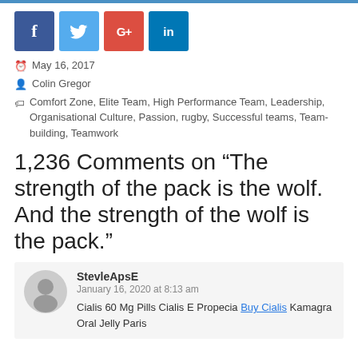[Figure (other): Social media share buttons: Facebook (f), Twitter (bird), Google+ (G+), LinkedIn (in)]
May 16, 2017
Colin Gregor
Comfort Zone, Elite Team, High Performance Team, Leadership, Organisational Culture, Passion, rugby, Successful teams, Team-building, Teamwork
1,236 Comments on “The strength of the pack is the wolf. And the strength of the wolf is the pack.”
StevleApsE
January 16, 2020 at 8:13 am
Cialis 60 Mg Pills Cialis E Propecia Buy Cialis Kamagra Oral Jelly Paris